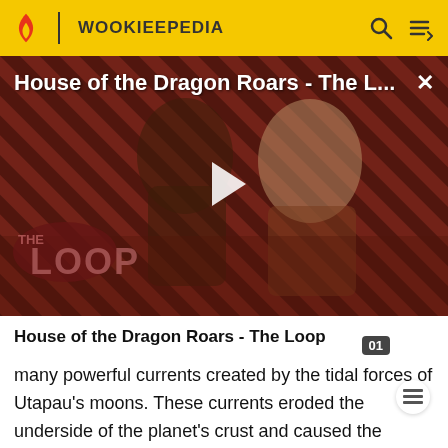WOOKIEEPEDIA
[Figure (screenshot): Video thumbnail for 'House of the Dragon Roars - The L...' showing two characters against a red/black diagonal striped background with 'THE LOOP' logo overlay and a white play button in the center.]
House of the Dragon Roars - The Loop
many powerful currents created by the tidal forces of Utapau's moons. These currents eroded the underside of the planet's crust and caused the formation of Utapau's